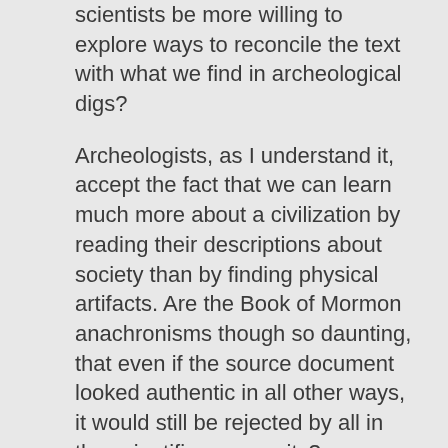scientists be more willing to explore ways to reconcile the text with what we find in archeological digs?
Archeologists, as I understand it, accept the fact that we can learn much more about a civilization by reading their descriptions about society than by finding physical artifacts. Are the Book of Mormon anachronisms though so daunting, that even if the source document looked authentic in all other ways, it would still be rejected by all in the scientific community?
In short, if it wasn't for the supernatural means by which the BOM was obtained would there be